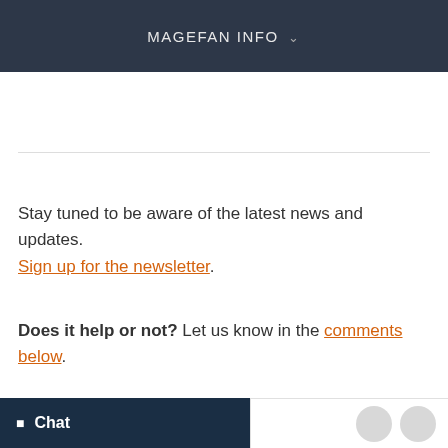MAGEFAN INFO
Stay tuned to be aware of the latest news and updates. Sign up for the newsletter.
Does it help or not? Let us know in the comments below.